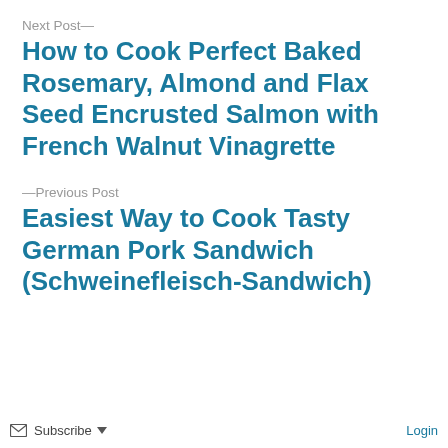Next Post—
How to Cook Perfect Baked Rosemary, Almond and Flax Seed Encrusted Salmon with French Walnut Vinagrette
—Previous Post
Easiest Way to Cook Tasty German Pork Sandwich (Schweinefleisch-Sandwich)
✉ Subscribe ▼   Login